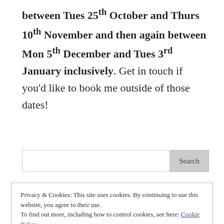between Tues 25th October and Thurs 10th November and then again between Mon 5th December and Tues 3rd January inclusively. Get in touch if you'd like to book me outside of those dates!
[Search input field with Search button]
Privacy & Cookies: This site uses cookies. By continuing to use this website, you agree to their use. To find out more, including how to control cookies, see here: Cookie Policy [Close and accept button]